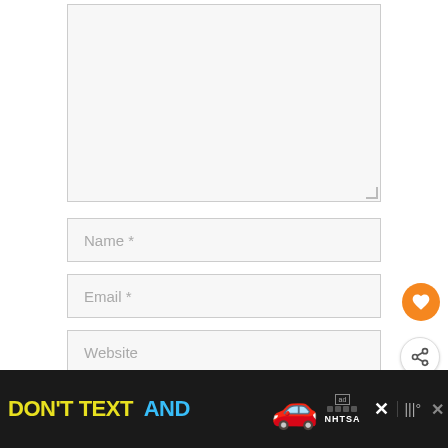[Figure (screenshot): A web form textarea (large input box) with resize handle at bottom right corner, shown against white/light gray background.]
Name *
Email *
Website
[Figure (screenshot): Orange circular button with white heart icon (favorite/like button)]
[Figure (screenshot): White circular share button with share/network icon]
[Figure (screenshot): Dark advertisement banner at bottom: 'DON'T TEXT AND' in yellow/cyan text with red car illustration, ad bug with NHTSA logo, and close X buttons]